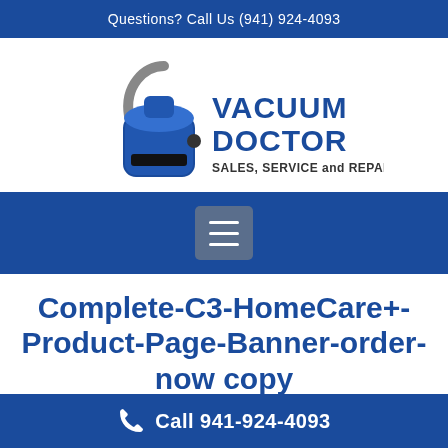Questions? Call Us (941) 924-4093
[Figure (logo): Vacuum Doctor logo with vacuum cleaner illustration and text 'VACUUM DOCTOR SALES, SERVICE and REPAIRS']
[Figure (other): Navigation hamburger menu button]
Complete-C3-HomeCare+- Product-Page-Banner-order- now copy
Call 941-924-4093